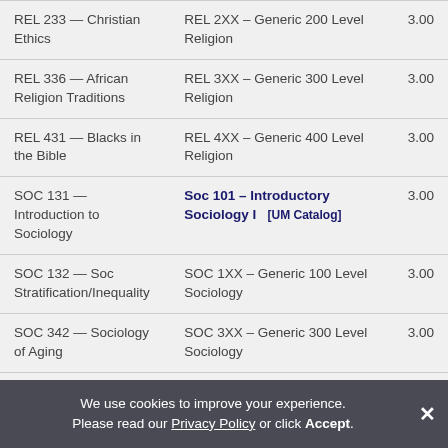| Course | Equivalent | Credits |
| --- | --- | --- |
| REL 233 — Christian Ethics | REL 2XX – Generic 200 Level Religion | 3.00 |
| REL 336 — African Religion Traditions | REL 3XX – Generic 300 Level Religion | 3.00 |
| REL 431 — Blacks in the Bible | REL 4XX – Generic 400 Level Religion | 3.00 |
| SOC 131 — Introduction to Sociology | Soc 101 – Introductory Sociology I   [UM Catalog] | 3.00 |
| SOC 132 — Soc Stratification/Inequality | SOC 1XX – Generic 100 Level Sociology | 3.00 |
| SOC 342 — Sociology of Aging | SOC 3XX – Generic 300 Level Sociology | 3.00 |
| SOC 344 — The Family | Soc 201 – The Family | 3.00 |
We use cookies to improve your experience. Please read our Privacy Policy or click Accept.